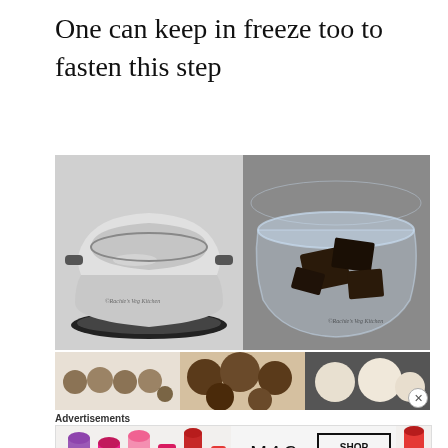One can keep in freeze too to fasten this step
[Figure (photo): Left: metal saucepan on stove with water; Right: glass bowl with dark chocolate pieces, both with watermark 'Rachie's Veg Kitchen']
[Figure (photo): Thumbnail strip: three thumbnail images of chocolate truffles/balls]
Advertisements
[Figure (photo): MAC cosmetics advertisement banner showing lipsticks in purple, pink, and red colors with MAC logo and SHOP NOW button]